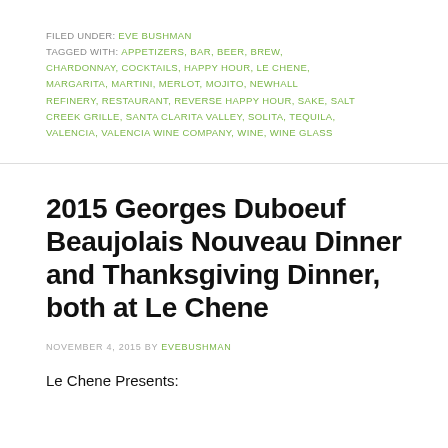FILED UNDER: EVE BUSHMAN
TAGGED WITH: APPETIZERS, BAR, BEER, BREW, CHARDONNAY, COCKTAILS, HAPPY HOUR, LE CHENE, MARGARITA, MARTINI, MERLOT, MOJITO, NEWHALL REFINERY, RESTAURANT, REVERSE HAPPY HOUR, SAKE, SALT CREEK GRILLE, SANTA CLARITA VALLEY, SOLITA, TEQUILA, VALENCIA, VALENCIA WINE COMPANY, WINE, WINE GLASS
2015 Georges Duboeuf Beaujolais Nouveau Dinner and Thanksgiving Dinner, both at Le Chene
NOVEMBER 4, 2015 BY EVEBUSHMAN
Le Chene Presents: